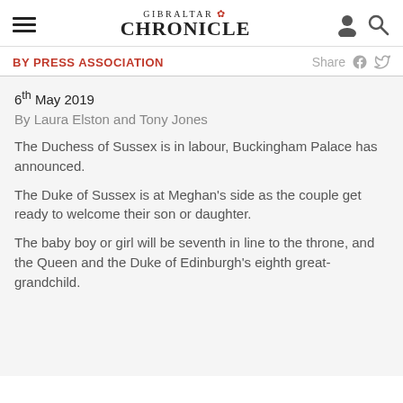GIBRALTAR CHRONICLE
BY PRESS ASSOCIATION
6th May 2019
By Laura Elston and Tony Jones
The Duchess of Sussex is in labour, Buckingham Palace has announced.
The Duke of Sussex is at Meghan's side as the couple get ready to welcome their son or daughter.
The baby boy or girl will be seventh in line to the throne, and the Queen and the Duke of Edinburgh's eighth great-grandchild.